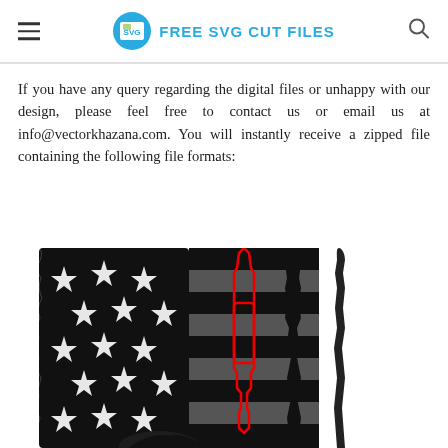FREE SVG CUT FILES
If you have any query regarding the digital files or unhappy with our design, please feel free to contact us or email us at info@vectorkhazana.com. You will instantly receive a zipped file containing the following file formats:
[Figure (illustration): Black and white illustration of an American flag with stars section and distressed stripes, with a red rifle/gun outline overlaid vertically and additional weapon silhouettes to the right, partially cropped at bottom showing an eagle.]